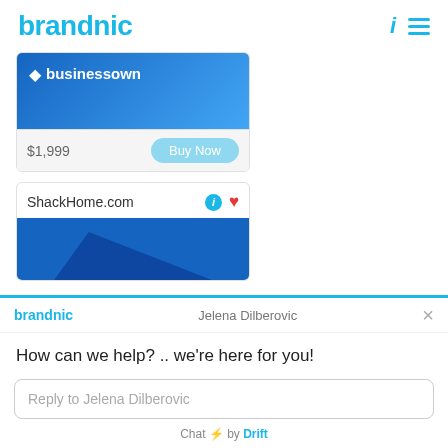brandnic
[Figure (screenshot): Product card showing businessown domain with blue gradient background and $1,999 price with Buy Now button]
[Figure (screenshot): Product card showing ShackHome.com domain with info and heart icons]
brandnic
Jelena Dilberovic
How can we help? .. we're here for you!
Reply to Jelena Dilberovic
Chat ⚡ by Drift